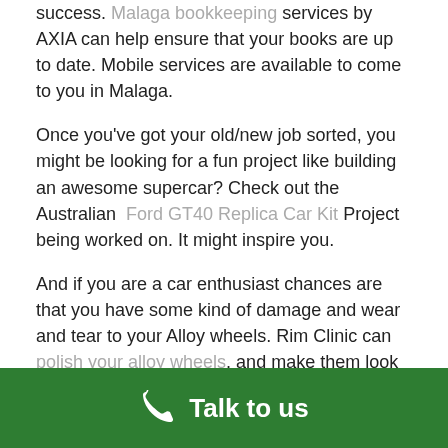success. Malaga bookkeeping services by AXIA can help ensure that your books are up to date. Mobile services are available to come to you in Malaga.
Once you've got your old/new job sorted, you might be looking for a fun project like building an awesome supercar? Check out the Australian Ford GT40 Replica Car Kit Project being worked on. It might inspire you.
And if you are a car enthusiast chances are that you have some kind of damage and wear and tear to your Alloy wheels. Rim Clinic can polish your alloy wheels, and make them look brand new again. They are mobile and can come to you in Malaga to collect your rims for repair.
Talk to us